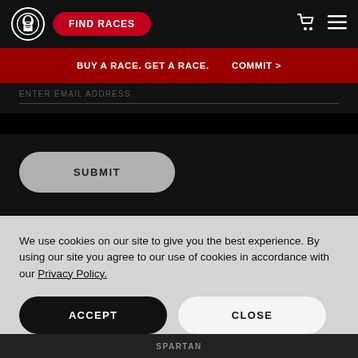[Figure (screenshot): Spartan Race website navigation bar with logo, FIND RACES red button, cart icon, and hamburger menu on black background]
BUY A RACE. GET A RACE.
COMMIT >
ENTER EMAIL ADDRESS
SUBMIT
We use cookies on our site to give you the best experience. By using our site you agree to our use of cookies in accordance with our Privacy Policy.
ACCEPT
CLOSE